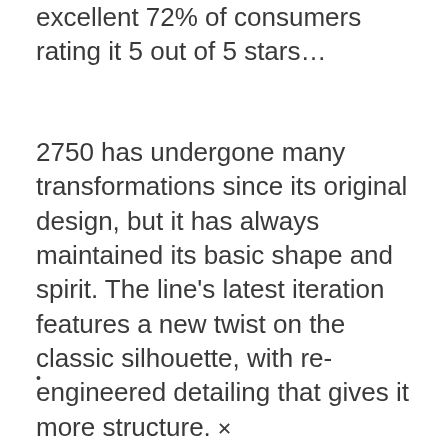excellent 72% of consumers rating it 5 out of 5 stars...
2750 has undergone many transformations since its original design, but it has always maintained its basic shape and spirit. The line's latest iteration features a new twist on the classic silhouette, with re-engineered detailing that gives it more structure.